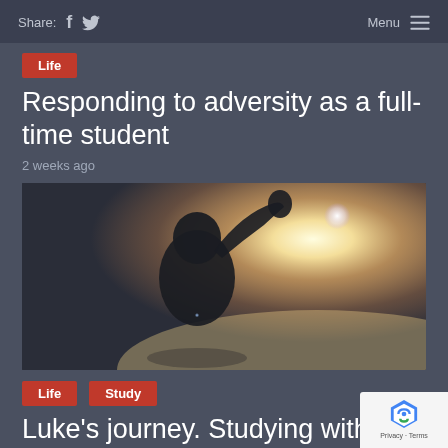Share:   Menu
Life
Responding to adversity as a full-time student
2 weeks ago
[Figure (photo): Person seen from behind with fist raised, backlit by bright sunlight creating lens flare effect]
Life  Study
Luke's journey. Studying with a